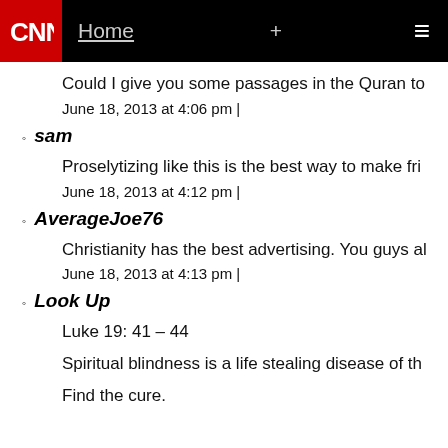CNN | Home +
Could I give you some passages in the Quran to
June 18, 2013 at 4:06 pm |
sam
Proselytizing like this is the best way to make fri
June 18, 2013 at 4:12 pm |
AverageJoe76
Christianity has the best advertising. You guys al
June 18, 2013 at 4:13 pm |
Look Up
Luke 19: 41 – 44
Spiritual blindness is a life stealing disease of th
Find the cure.